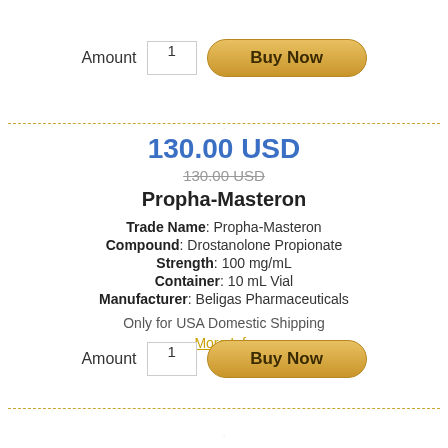Amount 1 Buy Now
130.00 USD
130.00 USD (strikethrough)
Propha-Masteron
Trade Name: Propha-Masteron
Compound: Drostanolone Propionate
Strength: 100 mg/mL
Container: 10 mL Vial
Manufacturer: Beligas Pharmaceuticals
Only for USA Domestic Shipping
More Info
Amount 1 Buy Now